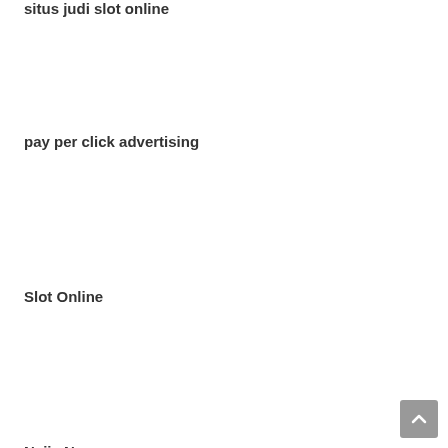situs judi slot online
pay per click advertising
Slot Online
Naija News
Slot Online
oslot888
kpktoto
slot Online